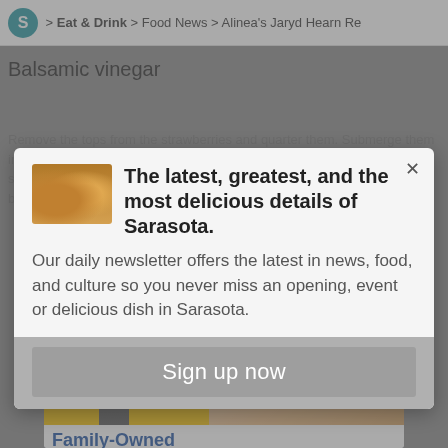S > Eat & Drink > Food News > Alinea's Jaryd Hearn Re
Balsamic vinegar
Remove the tops from the strawberries and quarter them. Submerge them in the balsamic vinegar. Let the berries pickle for at least 4 hours, then strain off the vinegar. Reserve both and put in the fridge. The leftover balsamic vinaigrette will take on a strawberry
[Figure (screenshot): Newsletter signup modal popup with thumbnail image, headline text, body text, and sign up button]
The latest, greatest, and the most delicious details of Sarasota.
Our daily newsletter offers the latest in news, food, and culture so you never miss an opening, event or delicious dish in Sarasota.
Sign up now
[Figure (photo): Advertisement banner: C'est La Vie! Fresh, authentic French recipes from Paris. Shows cursive title, subtitle, and food/cookbook images with Family-Owned text.]